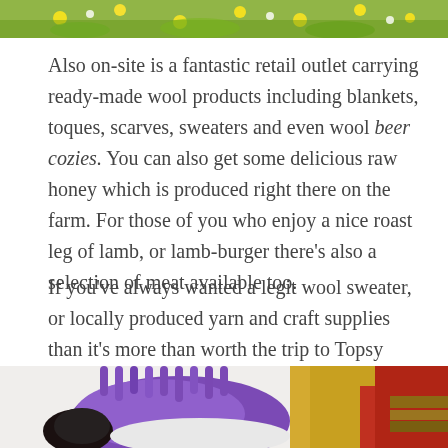[Figure (photo): Top portion of a photo showing flowers/plants outdoors, partially cropped at the top of the page]
Also on-site is a fantastic retail outlet carrying ready-made wool products including blankets, toques, scarves, sweaters and even wool beer cozies. You can also get some delicious raw honey which is produced right there on the farm. For those of you who enjoy a nice roast leg of lamb, or lamb-burger there's also a selection of meat available too.
If you've always wanted a legit wool sweater, or locally produced yarn and craft supplies than it's more than worth the trip to Topsy Farms to visit Sally and Ian and stock up on goodies. To get a look at Topsy Farm's selection of goods you can also check out their online store and shop from home!
[Figure (photo): Bottom portion showing purple knitted wool item (slipper/bootie) with yellow and red fabric in background]